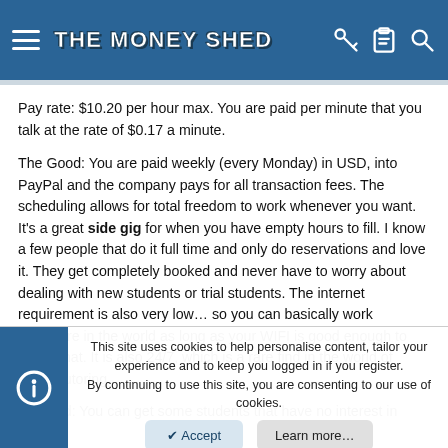THE MONEY SHED
Pay rate: $10.20 per hour max. You are paid per minute that you talk at the rate of $0.17 a minute.
The Good: You are paid weekly (every Monday) in USD, into PayPal and the company pays for all transaction fees. The scheduling allows for total freedom to work whenever you want. It's a great side gig for when you have empty hours to fill. I know a few people that do it full time and only do reservations and love it. They get completely booked and never have to worry about dealing with new students or trial students. The internet requirement is also very low… so you can basically work anywhere in the world as long as your WIFI is good enough to video chat. It is also 24/7, which is a rare find in the world of online tutoring.
The Bad: You can get some students that have no interest in learning
This site uses cookies to help personalise content, tailor your experience and to keep you logged in if you register.
By continuing to use this site, you are consenting to our use of cookies.